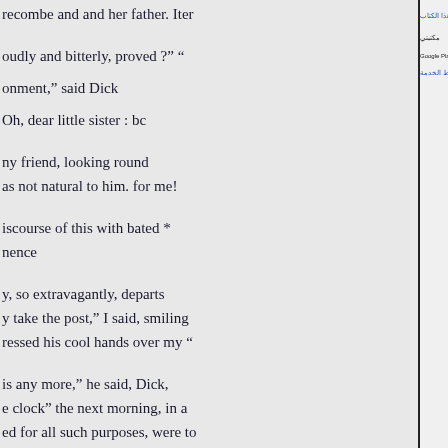recombe and and her father. Iter
oudly and bitterly, proved ?" "
onment," said Dick
Oh, dear little sister : bc
ny friend, looking round
as not natural to him. for me!
iscourse of this with bated *
nence
y, so extravagantly, departs
y take the post," I said, smiling
ressed his cool hands over my "
is any more," he said, Dick,
e clock" the next morning, in a
ed for all such purposes, were to
word "you" did more aldermen,
than anything ornamented with
ink of square velvet collars
لمحة عن هذا الكتاب
مكتبتي
الكتب على Google Play
شروط الخدمة